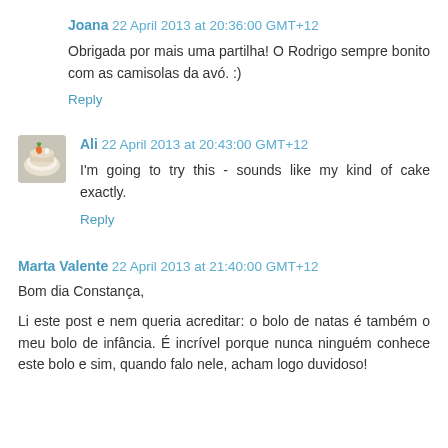Joana 22 April 2013 at 20:36:00 GMT+12
Obrigada por mais uma partilha! O Rodrigo sempre bonito com as camisolas da avó. :)
Reply
[Figure (photo): Small circular avatar image showing a cake-like object with decorative elements, brownish tones]
Ali 22 April 2013 at 20:43:00 GMT+12
I'm going to try this - sounds like my kind of cake exactly.
Reply
Marta Valente 22 April 2013 at 21:40:00 GMT+12
Bom dia Constança,
Li este post e nem queria acreditar: o bolo de natas é também o meu bolo de infância. É incrível porque nunca ninguém conhece este bolo e sim, quando falo nele, acham logo duvidoso!